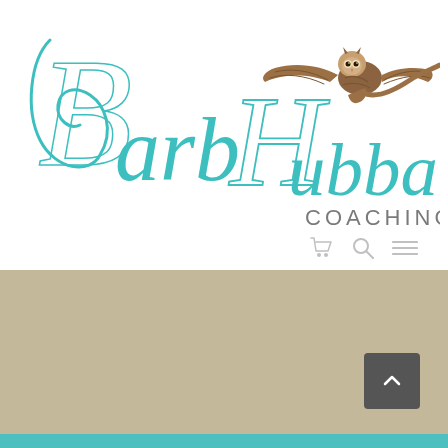[Figure (logo): Barb Hubbard Coaching logo with stylized teal cursive lettering and a flying owl illustration]
Unless different arrangements are made, individual coaching sessions are private sessions, last 60 minutes and are held over the phone.